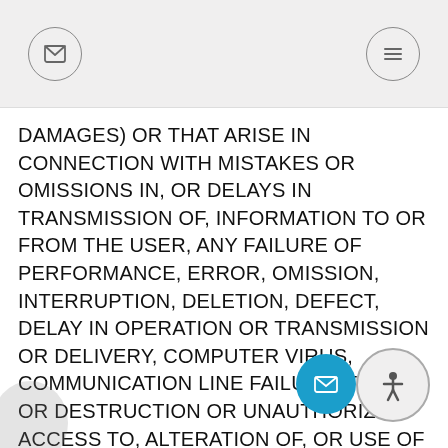DAMAGES) OR THAT ARISE IN CONNECTION WITH MISTAKES OR OMISSIONS IN, OR DELAYS IN TRANSMISSION OF, INFORMATION TO OR FROM THE USER, ANY FAILURE OF PERFORMANCE, ERROR, OMISSION, INTERRUPTION, DELETION, DEFECT, DELAY IN OPERATION OR TRANSMISSION OR DELIVERY, COMPUTER VIRUS, COMMUNICATION LINE FAILURE, THEFT OR DESTRUCTION OR UNAUTHORIZED ACCESS TO, ALTERATION OF, OR USE OF RECORDS, PROGRAMS OR FILES, INTERRUPTIONS IN TELECOMMUNICATIONS CONNECTIONS TO THE WEBSITE OR VIRUSES, WHETHER CAUSED IN WHOLE OR IN PART BY NEGLIGENCE, ACTS OF GOD, TELECOMMUNICATIONS FAILURE, THEFT OR DESTRUCTION OF, OR UNAUTHORIZED ACCESS TO THE WEBSITE OR THE CONTENT. THIS LIMITATION OF LIABILITY MAY BE DIFFERENT IN CONNECTION WITH SPECIFIC PRODUCTS AND SERVICES OFFERED BY Secrets Yoga. SOME JURISDICTIONS DO NOT ALLOW THE LIMITATION OF LIABILITY, SO THIS LIMITATION MAY NOT APPLY TO YOU.